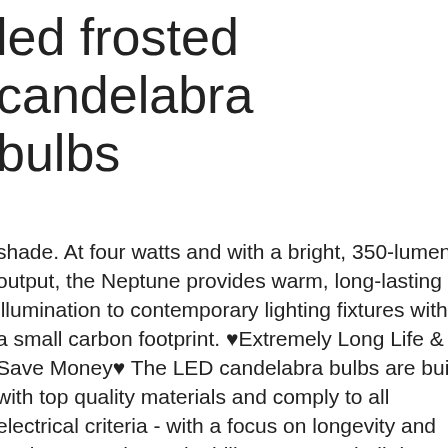led frosted candelabra bulbs
shade. At four watts and with a bright, 350-lumen output, the Neptune provides warm, long-lasting illumination to contemporary lighting fixtures with a small carbon footprint. ♥Extremely Long Life & Save Money♥ The LED candelabra bulbs are built with top quality materials and comply to all electrical criteria - with a focus on longevity and environmental sustainability. E12 LED bulb is a LED replacement bulb for traditional Candelabra base bulbs. Smooth dimming from 10-100% without radiation and flicker,Being able to adjust the light brightness means you’re able to create the perfect atmosphere in your room anytime, ♥Energy Saving♥Use only 5W candelabra LED bulbs emits 550 lumens of each light replace 60W incandescent candelabra chandelier light bulbs, save 90% on electricity bills, ♥Easy to Install♥This candelabra LED lights are suitable for chandeliers, pendant lighting, sconces or any general purpose application with a E12 screw canelabra base socket, ♥Long-lasting♥Over 15,000 hours long liftspan, no longer need to change led chandelier light bulbs frequently, LED 6 WATT BENT TIP FROSTED CHANDELIER BULB - Provides 500 Lumens of output; Cozy 3000K soft